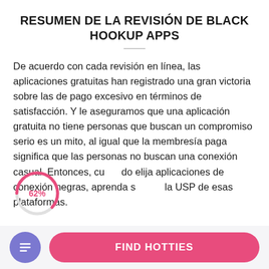RESUMEN DE LA REVISIÓN DE BLACK HOOKUP APPS
De acuerdo con cada revisión en línea, las aplicaciones gratuitas han registrado una gran victoria sobre las de pago excesivo en términos de satisfacción. Y le aseguramos que una aplicación gratuita no tiene personas que buscan un compromiso serio es un mito, al igual que la membresía paga significa que las personas no buscan una conexión casual. Entonces, cuando elija aplicaciones de conexión negras, aprenda sobre la USP de esas plataformas.
[Figure (donut-chart): Partial donut chart showing 62% in red/pink color]
Un espacio que se adapta a nuestras necesidades